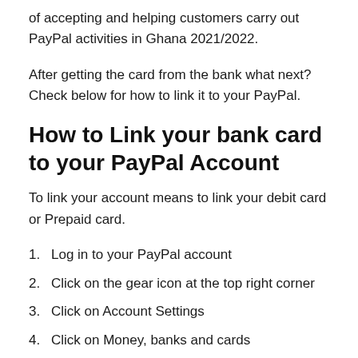of accepting and helping customers carry out PayPal activities in Ghana 2021/2022.
After getting the card from the bank what next? Check below for how to link it to your PayPal.
How to Link your bank card to your PayPal Account
To link your account means to link your debit card or Prepaid card.
1. Log in to your PayPal account
2. Click on the gear icon at the top right corner
3. Click on Account Settings
4. Click on Money, banks and cards